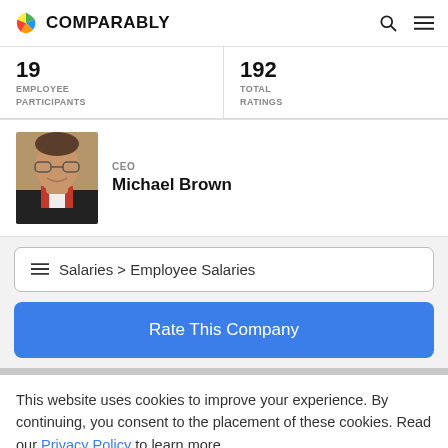COMPARABLY
19 EMPLOYEE PARTICIPANTS
192 TOTAL RATINGS
CEO Michael Brown
[Figure (photo): Photo of CEO Michael Brown]
Salaries > Employee Salaries
Rate This Company
This website uses cookies to improve your experience. By continuing, you consent to the placement of these cookies. Read our Privacy Policy to learn more.
ACCEPT